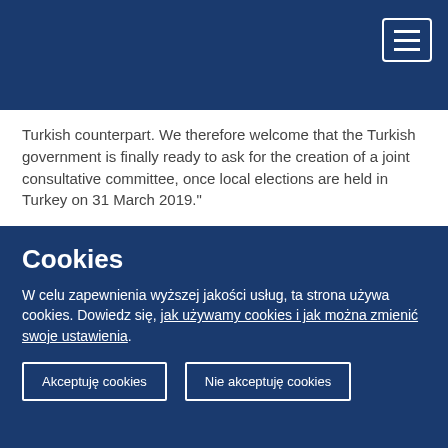[Navigation bar with hamburger menu]
Turkish counterpart. We therefore welcome that the Turkish government is finally ready to ask for the creation of a joint consultative committee, once local elections are held in Turkey on 31 March 2019."
A joint consultative committee has a fixed work programme and a fixed membership.
Referring to the integration of refugees, Mr Imane said: "A single, centralised approach does not work. True integration is only possible at the level closest to citizens – in local communities. So we need an approach that includes local and regional authorities and recognises the challenges they face
Cookies
W celu zapewnienia wyższej jakości usług, ta strona używa cookies. Dowiedz się, jak używamy cookies i jak można zmienić swoje ustawienia.